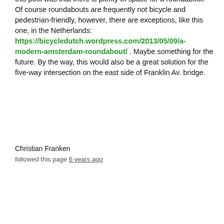this post was that there is plenty of space for a roundabout. Of course roundabouts are frequently not bicycle and pedestrian-friendly, however, there are exceptions, like this one, in the Netherlands: https://bicycledutch.wordpress.com/2013/05/09/a-modern-amsterdam-roundabout/ . Maybe something for the future. By the way, this would also be a great solution for the five-way intersection on the east side of Franklin Av. bridge.
Christian Franken
followed this page 6 years ago